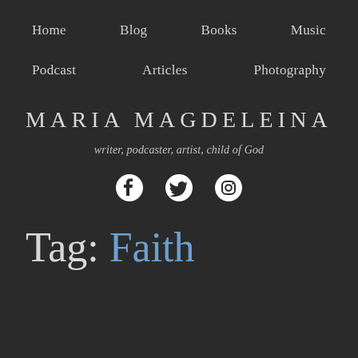Home   Blog   Books   Music
Podcast   Articles   Photography
MARIA MAGDELEINA
writer, podcaster, artist, child of God
[Figure (infographic): Social media icons: Facebook, Twitter, Instagram]
Tag: Faith